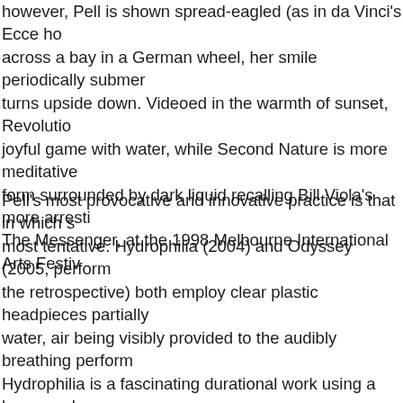however, Pell is shown spread-eagled (as in da Vinci's Ecce ho across a bay in a German wheel, her smile periodically submer turns upside down. Videoed in the warmth of sunset, Revolutio joyful game with water, while Second Nature is more meditative form surrounded by dark liquid recalling Bill Viola's more arres The Messenger, at the 1998 Melbourne International Arts Festi
Pell's most provocative and innovative practice is that in which most tentative. Hydrophilia (2004) and Odyssey (2005, perform the retrospective) both employ clear plastic headpieces partially water, air being visibly provided to the audibly breathing perfor Hydrophilia is a fascinating durational work using a heavy, sphe in which the water distorts Pell's physiognomy and spittle pour external valve, dramatising the affinity between water inside an body. Although visually attractive, this helmet proved dangerou was replaced by the flexible casque of Odyssey additionally fitt external air-cleansing unit, moulded in the shape of a heart and this externalization of internal life processes was intriguing, the Odyssey eclipsed this conceptual focus.